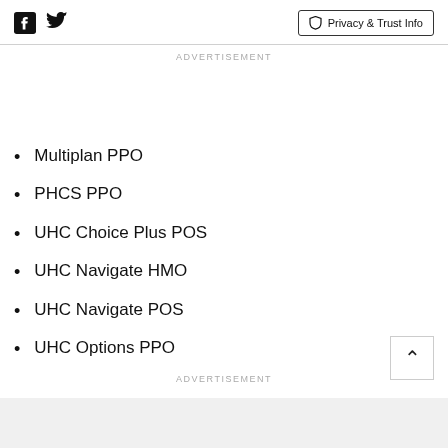Facebook  Twitter  Privacy & Trust Info
ADVERTISEMENT
Multiplan PPO
PHCS PPO
UHC Choice Plus POS
UHC Navigate HMO
UHC Navigate POS
UHC Options PPO
ADVERTISEMENT